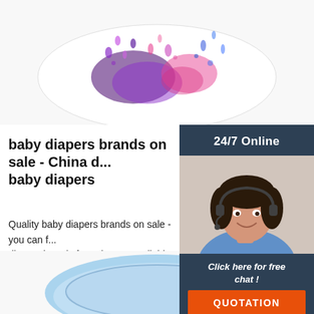[Figure (photo): Top portion of a white baby diaper with colorful watercolor rain/cloud print pattern, purple and pink colors]
baby diapers brands on sale - China baby diapers
Quality baby diapers brands on sale - you can find baby diapers brands from the most reliable suppliers on China.cn. We find 371 products about baby diapers from 69 manufacturers & suppliers.
[Figure (photo): Customer service agent woman with headset smiling, sidebar with 24/7 Online label and Click here for free chat call to action]
Get Price
[Figure (photo): Bottom portion of a light blue baby diaper product]